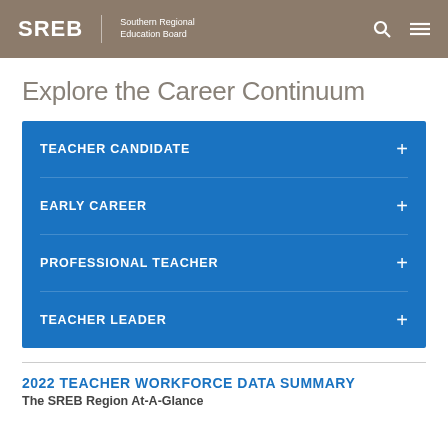SREB Southern Regional Education Board
Explore the Career Continuum
TEACHER CANDIDATE
EARLY CAREER
PROFESSIONAL TEACHER
TEACHER LEADER
2022 TEACHER WORKFORCE DATA SUMMARY
The SREB Region At-A-Glance